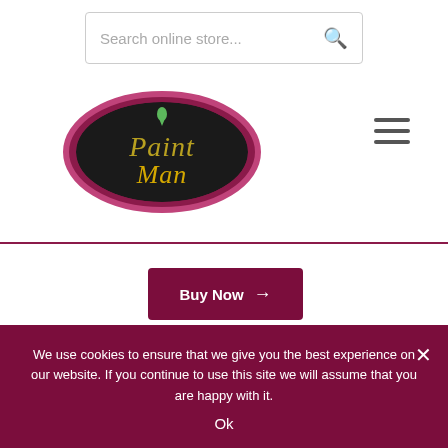[Figure (screenshot): Search bar with placeholder text 'Search online store...' and a search icon on the right]
[Figure (logo): Paint Man logo — dark oval with pink/maroon border, stylized cursive 'Paint Man' text in gold/green with a green paint drop above]
[Figure (other): Hamburger menu icon — three horizontal lines]
[Figure (other): Buy Now button with right arrow, dark maroon background, white text]
[Figure (other): Partial content box outline at the bottom of visible content area]
We use cookies to ensure that we give you the best experience on our website. If you continue to use this site we will assume that you are happy with it.
Ok